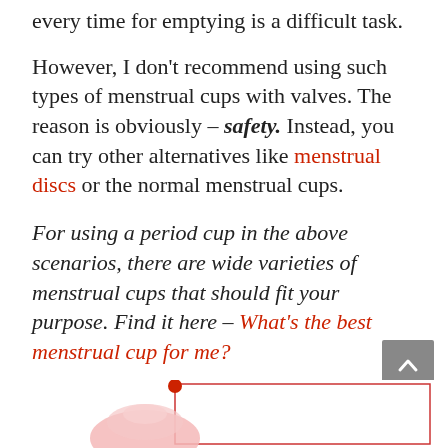every time for emptying is a difficult task.
However, I don't recommend using such types of menstrual cups with valves. The reason is obviously – safety. Instead, you can try other alternatives like menstrual discs or the normal menstrual cups.
For using a period cup in the above scenarios, there are wide varieties of menstrual cups that should fit your purpose. Find it here – What's the best menstrual cup for me?
What are valve menstrual cups?
[Figure (photo): Partial image of a menstrual cup with a red dot at the top and a rectangular border outline, pink/translucent cup visible at bottom]